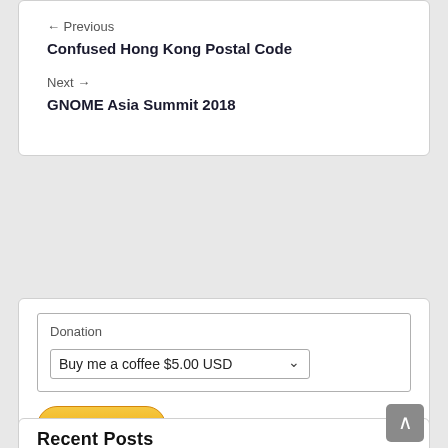← Previous
Confused Hong Kong Postal Code
Next →
GNOME Asia Summit 2018
Donation
Buy me a coffee $5.00 USD
[Figure (other): Pay Now button with orange gradient styling]
Recent Posts